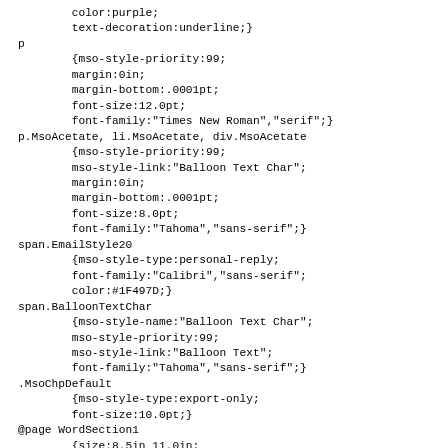color:purple;
        text-decoration:underline;}
p
        {mso-style-priority:99;
        margin:0in;
        margin-bottom:.0001pt;
        font-size:12.0pt;
        font-family:"Times New Roman","serif";}
p.MsoAcetate, li.MsoAcetate, div.MsoAcetate
        {mso-style-priority:99;
        mso-style-link:"Balloon Text Char";
        margin:0in;
        margin-bottom:.0001pt;
        font-size:8.0pt;
        font-family:"Tahoma","sans-serif";}
span.EmailStyle20
        {mso-style-type:personal-reply;
        font-family:"Calibri","sans-serif";
        color:#1F497D;}
span.BalloonTextChar
        {mso-style-name:"Balloon Text Char";
        mso-style-priority:99;
        mso-style-link:"Balloon Text";
        font-family:"Tahoma","sans-serif";}
.MsoChpDefault
        {mso-style-type:export-only;
        font-size:10.0pt;}
@page WordSection1
        {size:8.5in 11.0in;
        margin:1.0in 1.0in 1.0in 1.0in;}